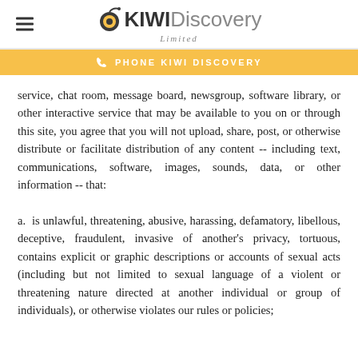KIWI Discovery Limited
PHONE KIWI DISCOVERY
service, chat room, message board, newsgroup, software library, or other interactive service that may be available to you on or through this site, you agree that you will not upload, share, post, or otherwise distribute or facilitate distribution of any content -- including text, communications, software, images, sounds, data, or other information -- that:
a.  is unlawful, threatening, abusive, harassing, defamatory, libellous, deceptive, fraudulent, invasive of another's privacy, tortuous, contains explicit or graphic descriptions or accounts of sexual acts (including but not limited to sexual language of a violent or threatening nature directed at another individual or group of individuals), or otherwise violates our rules or policies;